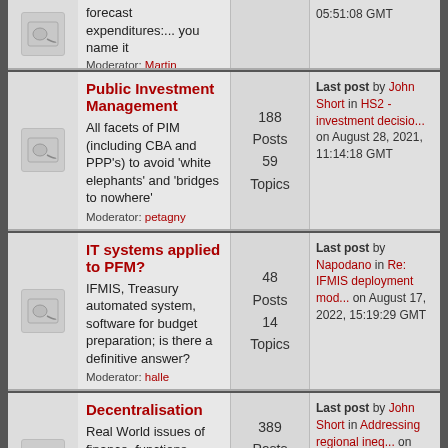| Icon | Forum | Stats | Last Post |
| --- | --- | --- | --- |
| [icon] | forecast expenditures:... you name it
Moderator: Martin Johnson |  | 05:51:08 GMT |
| [icon] | Public Investment Management
All facets of PIM (including CBA and PPP's) to avoid 'white elephants' and 'bridges to nowhere'
Moderator: petagny | 188 Posts
59 Topics | Last post by John Short in HS2 - investment decisio... on August 28, 2021, 11:14:18 GMT |
| [icon] | IT systems applied to PFM?
IFMIS, Treasury automated system, software for budget preparation; is there a definitive answer?
Moderator: halle | 48 Posts
14 Topics | Last post by Napodano in Re: IFMIS deployment mod... on August 17, 2022, 15:19:29 GMT |
| [icon] | Decentralisation
Real World issues of finance, functions, functionaries and politics at local level
Moderators: FitzFord, Glen Wright | 389 Posts
50 Topics | Last post by John Short in Addressing regional ineq... on July 06, 2021, 13:07:50 GMT |